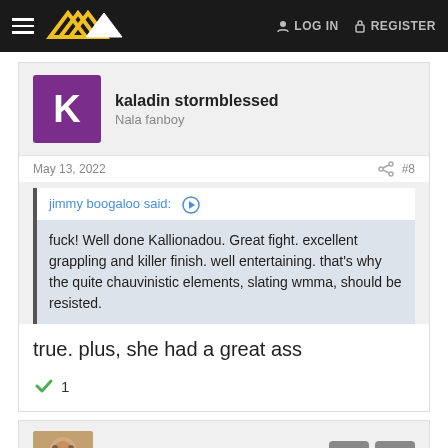Navigation bar with logo, LOG IN, REGISTER
kaladin stormblessed
Nala fanboy
May 13, 2022   #8
jimmy boogaloo said:
fuck! Well done Kallionadou. Great fight. excellent grappling and killer finish. well entertaining. that's why the quite chauvinistic elements, slating wmma, should be resisted.
true. plus, she had a great ass
✓ 1
Robbie Hart
All Biden Voters Are Mindless Sheep